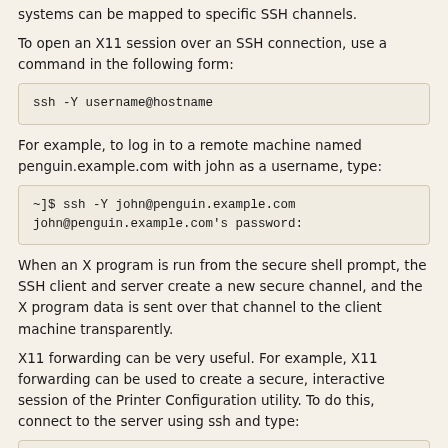systems can be mapped to specific SSH channels.
To open an X11 session over an SSH connection, use a command in the following form:
ssh -Y username@hostname
For example, to log in to a remote machine named penguin.example.com with john as a username, type:
~]$ ssh -Y john@penguin.example.com
john@penguin.example.com's password:
When an X program is run from the secure shell prompt, the SSH client and server create a new secure channel, and the X program data is sent over that channel to the client machine transparently.
X11 forwarding can be very useful. For example, X11 forwarding can be used to create a secure, interactive session of the Printer Configuration utility. To do this, connect to the server using ssh and type:
~]$ system-config-printer &